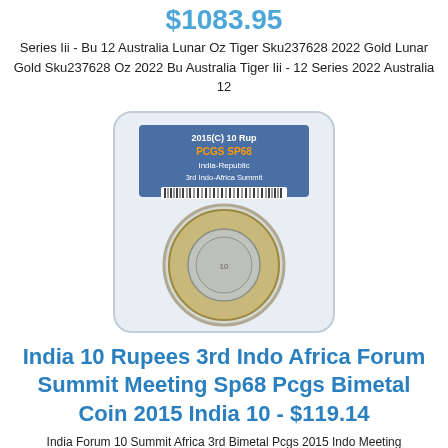$1083.95
Series Iii - Bu 12 Australia Lunar Oz Tiger Sku237628 2022 Gold Lunar Gold Sku237628 Oz 2022 Bu Australia Tiger Iii - 12 Series 2022 Australia 12
[Figure (photo): A PCGS graded coin in a slab holder. Label reads: 2015(C), 10 Rup, PCGS SP68, India-Republic, 3rd Indo-Africa Summit. Barcode visible at bottom of label. Coin is bimetal.]
India 10 Rupees 3rd Indo Africa Forum Summit Meeting Sp68 Pcgs Bimetal Coin 2015 India 10 - $119.14
India Forum 10 Summit Africa 3rd Bimetal Pcgs 2015 Indo Meeting